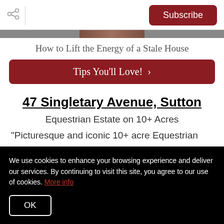Subscribe
[Figure (photo): Partial image strip at top of article]
How to Lift the Energy of a Stale House
Tips You'll Love! >
47 Singletary Avenue, Sutton
Equestrian Estate on 10+ Acres
"Picturesque and iconic 10+ acre Equestrian
We use cookies to enhance your browsing experience and deliver our services. By continuing to visit this site, you agree to our use of cookies. More info
OK